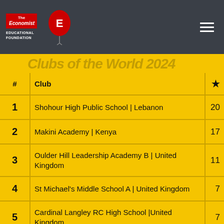The Economist Educational Foundation
| # | Club | ★ |
| --- | --- | --- |
| 1 | Shohour High Public School | Lebanon | 20 |
| 2 | Makini Academy | Kenya | 17 |
| 3 | Oulder Hill Leadership Academy B | United Kingdom | 11 |
| 4 | St Michael's Middle School A | United Kingdom | 7 |
| 5 | Cardinal Langley RC High School |United Kingdom | 7 |
| 6 | Ormiston Sudbury Academy | United Kingdom | 6 |